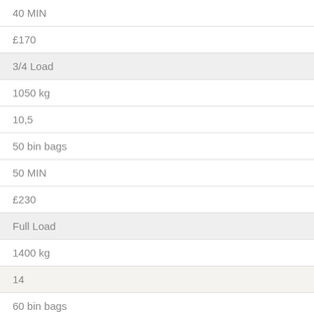| 40 MIN |
| £170 |
| 3/4 Load |
| 1050 kg |
| 10,5 |
| 50 bin bags |
| 50 MIN |
| £230 |
| Full Load |
| 1400 kg |
| 14 |
| 60 bin bags |
| 60 MIN |